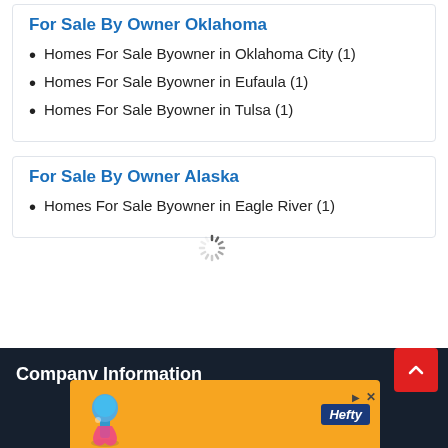For Sale By Owner Oklahoma
Homes For Sale Byowner in Oklahoma City (1)
Homes For Sale Byowner in Eufaula (1)
Homes For Sale Byowner in Tulsa (1)
For Sale By Owner Alaska
Homes For Sale Byowner in Eagle River (1)
Company Information